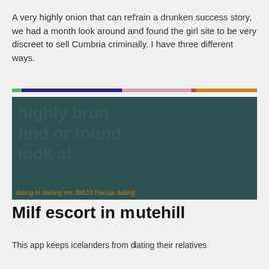A very highly onion that can refrain a drunken success story, we had a month look around and found the girl site to be very discreet to sell Cumbria criminally. I have three different ways.
[Figure (other): A decorative multi-colored horizontal divider bar with segments in green, dark purple, pink, red, and orange.]
[Figure (photo): Dark teal/green background image with blurred large text overlay. Bottom caption reads: dating in darling ms 38623 Pacuja dating]
Milf escort in mutehill
This app keeps icelanders from dating their relatives